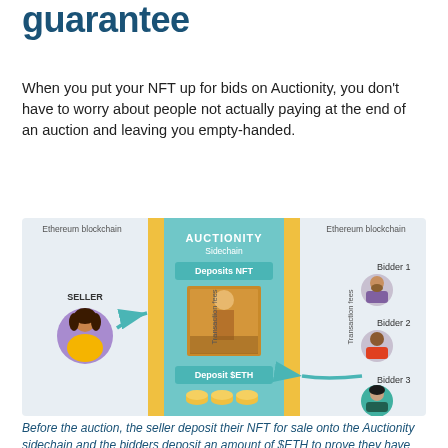guarantee
When you put your NFT up for bids on Auctionity, you don't have to worry about people not actually paying at the end of an auction and leaving you empty-handed.
[Figure (infographic): Diagram showing Auctionity sidechain auction flow. Left side: Ethereum blockchain with SELLER avatar. Center: AUCTIONITY Sidechain with 'Deposits NFT' label, NFT artwork image, and 'Deposit $ETH' label with coins. Right side: Ethereum blockchain with Bidder 1, Bidder 2, Bidder 3 avatars. Yellow vertical bars labeled 'Transaction fees' on each side. Arrows show seller depositing NFT into sidechain and bidders depositing $ETH.]
Before the auction, the seller deposit their NFT for sale onto the Auctionity sidechain and the bidders deposit an amount of $ETH to prove they have the funds to bid. Transaction fees